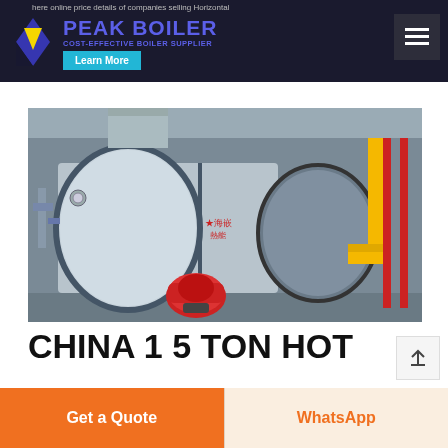here online price details of companies selling Horizontal
[Figure (logo): Peak Boiler logo with blue diamond shape and yellow triangle, text PEAK BOILER in blue, subtitle COST-EFFECTIVE BOILER SUPPLIER, Learn More button]
[Figure (photo): Industrial horizontal boiler in a factory setting, silver/grey cylindrical boiler with red burner, yellow gas pipes visible on right side]
CHINA 1 5 TON HOT
Get a Quote
WhatsApp